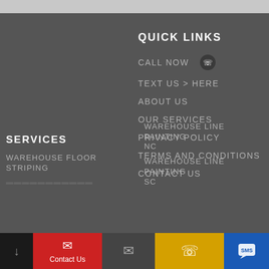QUICK LINKS
CALL NOW
TEXT US > HERE
ABOUT US
OUR SERVICES
PRIVACY POLICY
TERMS AND CONDITIONS
CONTACT US
SERVICES
WAREHOUSE FLOOR STRIPING
WAREHOUSE LINE PAINTING NC
WAREHOUSE LINE PAINTING SC
Contact Us | (envelope) | (phone) | SMS